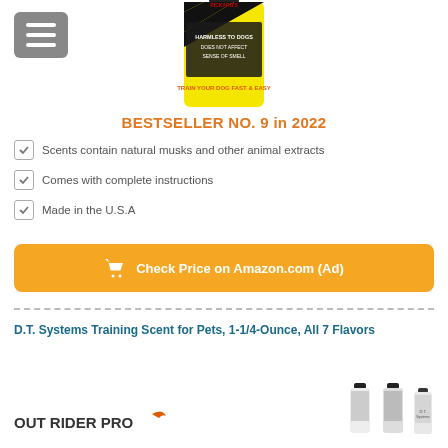[Figure (photo): Rickard's Dog Trainer Done product bottle with yellow label showing 'HARMLESS TO DOGS', 'DOES NOT AFFECT SENSE OF SMELL', 'TRAIN YOUR DOG FAST & EASY']
BESTSELLER NO. 9 in 2022
Scents contain natural musks and other animal extracts
Comes with complete instructions
Made in the U.S.A
Check Price on Amazon.com (Ad)
D.T. Systems Training Scent for Pets, 1-1/4-Ounce, All 7 Flavors
[Figure (photo): Out Rider Pro logo and product bottles thumbnails at bottom of page]